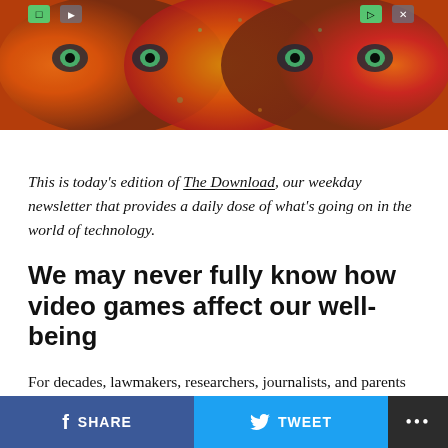[Figure (photo): Colorful psychedelic image of a face with video game controller buttons overlaid, orange and green tones]
This is today's edition of The Download, our weekday newsletter that provides a daily dose of what's going on in the world of technology.
We may never fully know how video games affect our well-being
For decades, lawmakers, researchers, journalists, and parents have worried that video games are bad for us: that they encourage violent behavior or harm mental health. These fears have spilled into policy decisions
SHARE   TWEET   ...